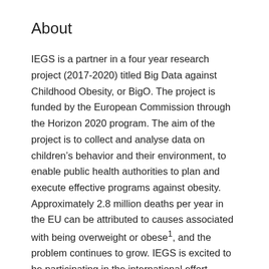About
IEGS is a partner in a four year research project (2017-2020) titled Big Data against Childhood Obesity, or BigO. The project is funded by the European Commission through the Horizon 2020 program. The aim of the project is to collect and analyse data on children’s behavior and their environment, to enable public health authorities to plan and execute effective programs against obesity. Approximately 2.8 million deaths per year in the EU can be attributed to causes associated with being overweight or obese¹, and the problem continues to grow. IEGS is excited to be participating in the international effort, collaborating with scientists, clinicians, and engineers in Greece, Ireland, The Netherlands, and